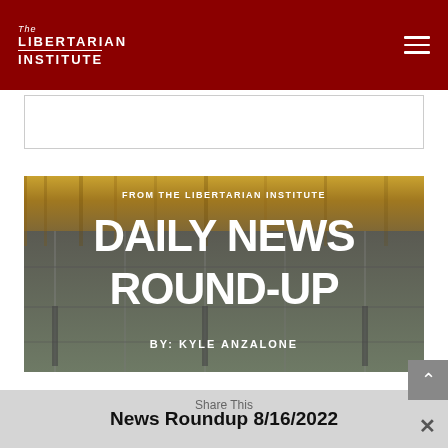The Libertarian Institute
[Figure (illustration): Daily News Round-Up promotional banner image with text: FROM THE LIBERTARIAN INSTITUTE, DAILY NEWS ROUND-UP, BY: KYLE ANZALONE, set against a wooden fence/wall background]
News Roundup 8/16/2022